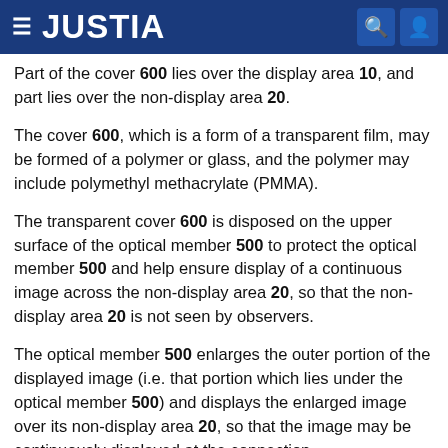JUSTIA
Part of the cover 600 lies over the display area 10, and part lies over the non-display area 20.
The cover 600, which is a form of a transparent film, may be formed of a polymer or glass, and the polymer may include polymethyl methacrylate (PMMA).
The transparent cover 600 is disposed on the upper surface of the optical member 500 to protect the optical member 500 and help ensure display of a continuous image across the non-display area 20, so that the non-display area 20 is not seen by observers.
The optical member 500 enlarges the outer portion of the displayed image (i.e. that portion which lies under the optical member 500) and displays the enlarged image over its non-display area 20, so that the image may be continuously displayed at the connection